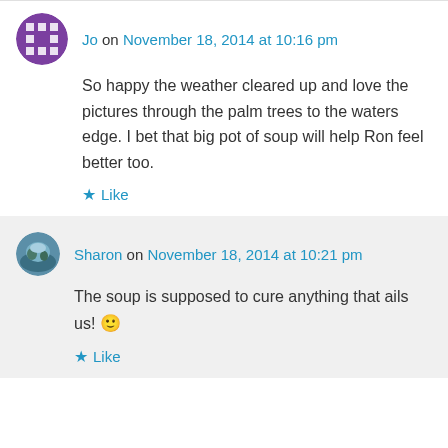Jo on November 18, 2014 at 10:16 pm
So happy the weather cleared up and love the pictures through the palm trees to the waters edge. I bet that big pot of soup will help Ron feel better too.
Like
Sharon on November 18, 2014 at 10:21 pm
The soup is supposed to cure anything that ails us! 🙂
Like